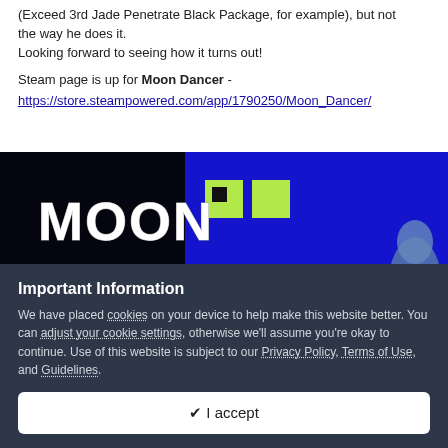(Exceed 3rd Jade Penetrate Black Package, for example), but not the way he does it.
Looking forward to seeing how it turns out!
Steam page is up for Moon Dancer - https://store.steampowered.com/app/1790250/Moon_Dancer/
[Figure (screenshot): Screenshot of the Moon Dancer game title screen showing 'MOON DANCER' text in white and blue on a blue and black background with green accents]
Important Information
We have placed cookies on your device to help make this website better. You can adjust your cookie settings, otherwise we'll assume you're okay to continue. Use of this website is subject to our Privacy Policy, Terms of Use, and Guidelines.
✔ I accept